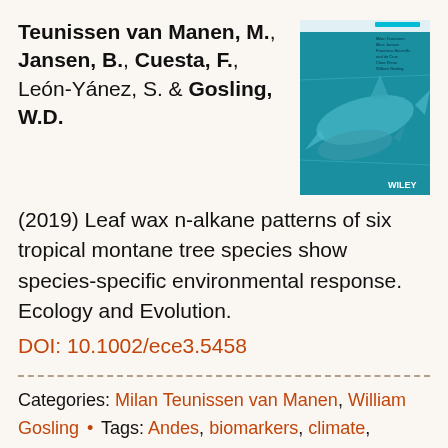Teunissen van Manen, M., Jansen, B., Cuesta, F., León-Yánez, S. & Gosling, W.D. (2019) Leaf wax n-alkane patterns of six tropical montane tree species show species-specific environmental response. Ecology and Evolution. DOI: 10.1002/ece3.5458
[Figure (photo): Book/journal cover image showing sharks underwater with a teal/blue background, with 'WILEY' text visible at bottom right and small text listing authors at top right.]
Categories: Milan Teunissen van Manen, William Gosling • Tags: Andes, biomarkers, climate, elevation, Guaria, humidity, leaf wax, Miconia, n-alkane, Pichincha, precipitation, species specific, temperature,